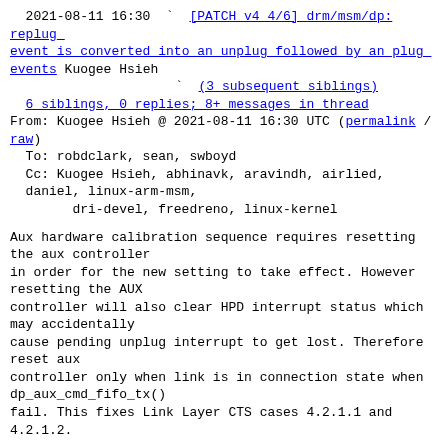2021-08-11 16:30 ` [PATCH v4 4/6] drm/msm/dp: replug_event is converted into an unplug followed by an plug_events Kuogee Hsieh
(3 subsequent siblings)
6 siblings, 0 replies; 8+ messages in thread
From: Kuogee Hsieh @ 2021-08-11 16:30 UTC (permalink / raw)
To: robdclark, sean, swboyd
Cc: Kuogee Hsieh, abhinavk, aravindh, airlied, daniel, linux-arm-msm, dri-devel, freedreno, linux-kernel
Aux hardware calibration sequence requires resetting the aux controller in order for the new setting to take effect. However resetting the AUX controller will also clear HPD interrupt status which may accidentally cause pending unplug interrupt to get lost. Therefore reset aux controller only when link is in connection state when dp_aux_cmd_fifo_tx() fail. This fixes Link Layer CTS cases 4.2.1.1 and 4.2.1.2.
Signed-off-by: Kuogee Hsieh <khsieh@codeaurora.org>
Reviewed-by: Stephen Boyd <swboyd@chromium.org>
---
drivers/gpu/drm/msm/dp/dp_aux.c | 3 +++
1 file changed, 3 insertions(+)